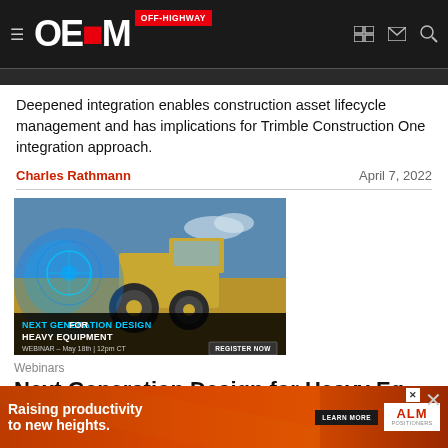OEM OFF-HIGHWAY
Deepened integration enables construction asset lifecycle management and has implications for Trimble Construction One integration approach.
Charles Rathmann | April 7, 2022
[Figure (photo): Advertisement banner for 'Next Generation Design for Heavy Equipment' webinar showing a heavy equipment vehicle with digital overlay, May 18th 12pm CT, Register Now button]
Webinars
Next Generation Design for Heavy Equipment
Date: May 18th
VIEW
[Figure (photo): Bottom banner advertisement: 'Raising productivity to new heights.' with LEARN MORE button and ALM Positioners logo]